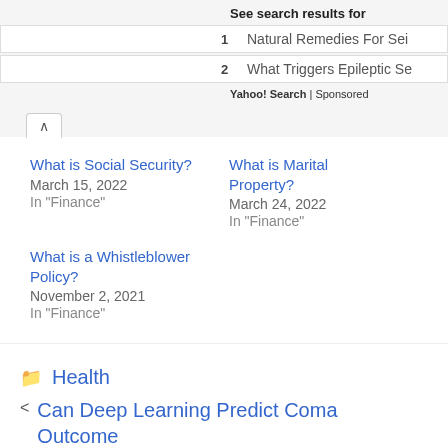See search results for
1  Natural Remedies For Sei
2  What Triggers Epileptic Se
Yahoo! Search | Sponsored
^
What is Social Security?
March 15, 2022
In "Finance"
What is Marital Property?
March 24, 2022
In "Finance"
What is a Whistleblower Policy?
November 2, 2021
In "Finance"
Health
< Can Deep Learning Predict Coma Outcome